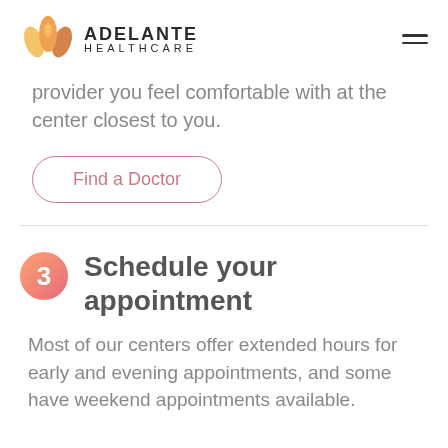ADELANTE HEALTHCARE
provider you feel comfortable with at the center closest to you.
Find a Doctor
3  Schedule your appointment
Most of our centers offer extended hours for early and evening appointments, and some have weekend appointments available.